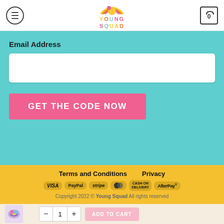[Figure (logo): Young Squad logo with colorful sun/rainbow graphic and multi-colored letter text spelling YOUNG SQUAD]
Email Address
GET THE CODE NOW
Terms and Conditions    Privacy
[Figure (infographic): Payment method icons: VISA, PayPal, stripe, MasterCard, CASH ON DELIVERY, AfterPay]
Copyright 2022 © Young Squad All rights reserved
[Figure (photo): Small product thumbnail of a colorful swimwear top]
- 1 + ADD TO CART